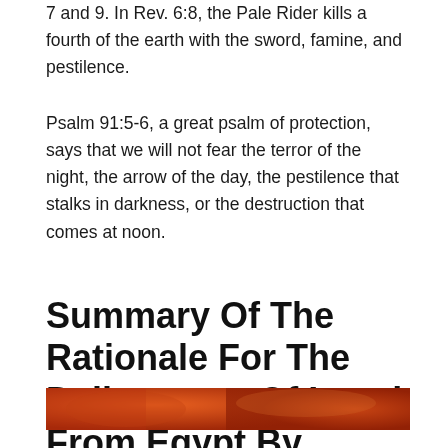7 and 9. In Rev. 6:8, the Pale Rider kills a fourth of the earth with the sword, famine, and pestilence.
Psalm 91:5-6, a great psalm of protection, says that we will not fear the terror of the night, the arrow of the day, the pestilence that stalks in darkness, or the destruction that comes at noon.
Summary Of The Rationale For The Deliverance Of Israel From Egypt By Plagues
[Figure (photo): A partial image strip showing an orange-red textured background, appearing to be a photograph related to plagues or fire.]